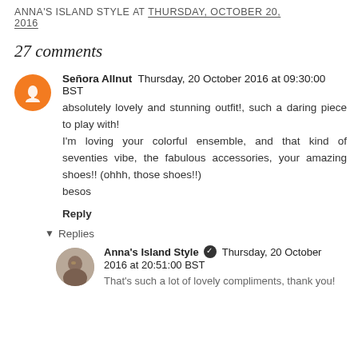ANNA'S ISLAND STYLE AT THURSDAY, OCTOBER 20, 2016
27 comments
Señora Allnut  Thursday, 20 October 2016 at 09:30:00 BST
absolutely lovely and stunning outfit!, such a daring piece to play with!
I'm loving your colorful ensemble, and that kind of seventies vibe, the fabulous accessories, your amazing shoes!! (ohhh, those shoes!!)
besos
Reply
▾ Replies
Anna's Island Style ✓  Thursday, 20 October 2016 at 20:51:00 BST
That's such a lot of lovely compliments, thank you!